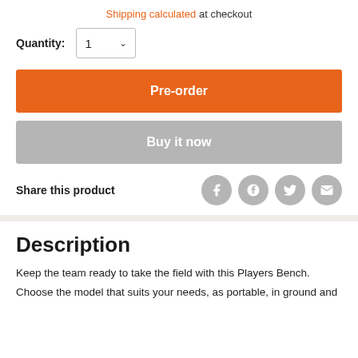Shipping calculated at checkout
Quantity: 1
Pre-order
Buy it now
Share this product
Description
Keep the team ready to take the field with this Players Bench.
Choose the model that suits your needs, as portable, in ground and